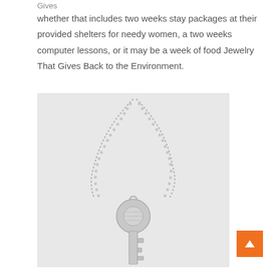Gives
whether that includes two weeks stay packages at their provided shelters for needy women, a two weeks computer lessons, or it may be a week of food Jewelry That Gives Back to the Environment.
[Figure (photo): A silver key pendant necklace with a round top, hanging from a delicate chain, on a light gray background.]